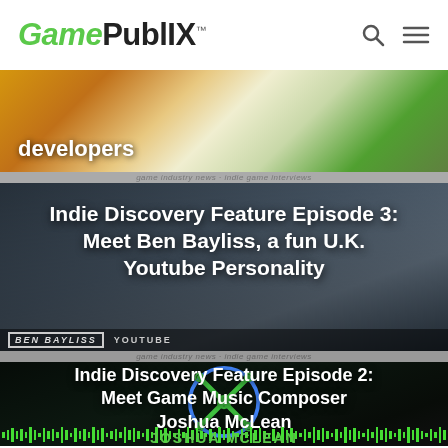GamePublX
[Figure (photo): Colorful game characters/developers image with text overlay 'developers']
developers
[Figure (photo): Photo of Ben Bayliss sitting at a desk with a GAME sign behind him]
Indie Discovery Feature Episode 3: Meet Ben Bayliss, a fun U.K. Youtube Personality
[Figure (photo): Dark image with Joshua McLean with green waveform audio visualization and glowing X logo overlay]
Indie Discovery Feature Episode 2: Meet Game Music Composer Joshua McLean